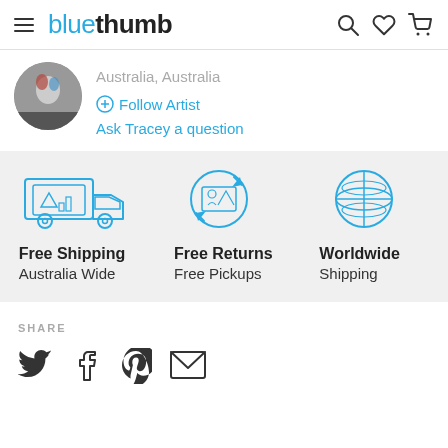bluethumb
Australia, Australia
+ Follow Artist
Ask Tracey a question
[Figure (infographic): Three icons in a row on a grey background: a delivery truck with artwork, a circular arrow with artwork (returns), and a globe. Labels below each icon read: Free Shipping / Australia Wide, Free Returns / Free Pickups, Worldwide / Shipping.]
SHARE
[Figure (infographic): Social share icons: Twitter bird, Facebook f, Pinterest P, and envelope/email icon.]